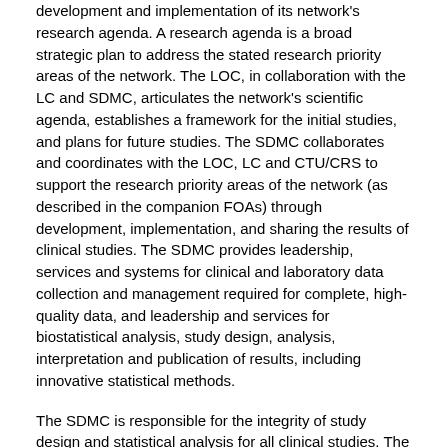development and implementation of its network's research agenda. A research agenda is a broad strategic plan to address the stated research priority areas of the network. The LOC, in collaboration with the LC and SDMC, articulates the network's scientific agenda, establishes a framework for the initial studies, and plans for future studies. The SDMC collaborates and coordinates with the LOC, LC and CTU/CRS to support the research priority areas of the network (as described in the companion FOAs) through development, implementation, and sharing the results of clinical studies. The SDMC provides leadership, services and systems for clinical and laboratory data collection and management required for complete, high-quality data, and leadership and services for biostatistical analysis, study design, analysis, interpretation and publication of results, including innovative statistical methods.
The SDMC is responsible for the integrity of study design and statistical analysis for all clinical studies. The SDMC is responsible for compliance with all applicable federal regulatory standards and international guidelines that apply to studies conducted under an Investigational New Drug or Device Exemption (IND/IDE). The SDMC has a central role in standardizing and harmonizing data management and statistical activities within the network and coordinating with other NIH-sponsored programs. Other SDMC responsibilities for governance include: